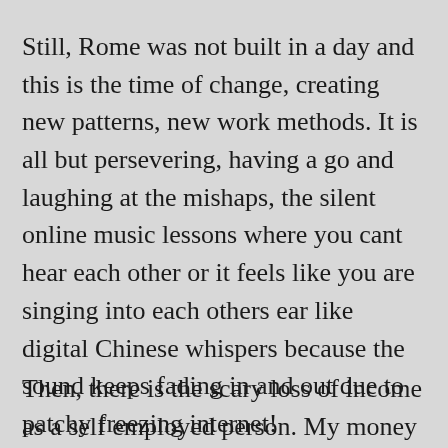Still, Rome was not built in a day and this is the time of change, creating new patterns, new work methods. It is all but persevering, having a go and laughing at the mishaps, the silent online music lessons where you cant hear each other or it feels like you are singing into each others ear like  digital Chinese whispers because the sound keeps fading in and out due to patchy freezing internet!
Then, there is the scary loss of income as a self employed person. My money feeds the